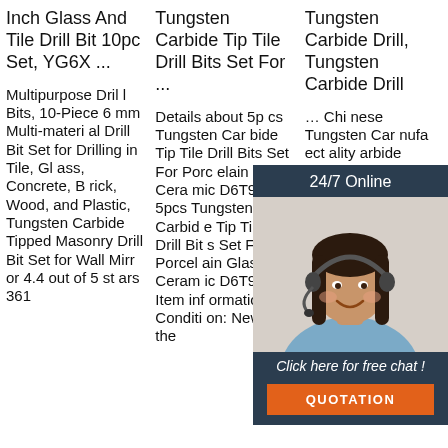Inch Glass And Tile Drill Bit 10pc Set, YG6X ...
Tungsten Carbide Tip Tile Drill Bits Set For ...
Tungsten Carbide Drill, Tungsten Carbide Drill
Multipurpose Drill Bits, 10-Piece 6 mm Multi-material Drill Bit Set for Drilling in Tile, Glass, Concrete, Brick, Wood, and Plastic, Tungsten Carbide Tipped Masonry Drill Bit Set for Wall Mirror 4.4 out of 5 st ars 361
Details about 5p cs Tungsten Car bide Tip Tile Drill Bits Set For Porcelain Glass Ceramic D6T9. 5pcs Tungsten Carbide Tip Tile Drill Bits Set For Porcelain Glass Ceramic D6T9. Item information. Condition: New ... If the
... China Tungsten Carbide manufacturers - Select quality Tungsten Carbide products from certified Chinese Tungsten Carbide, Cemented Carbide suppliers, wholesalers
[Figure (photo): Chat support widget with a woman wearing a headset, 24/7 Online banner, 'Click here for free chat!' text, and an orange QUOTATION button]